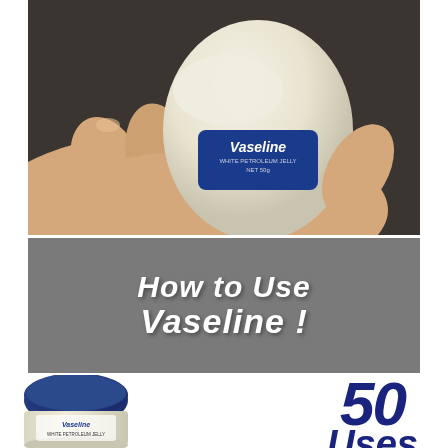[Figure (photo): A hand holding a small Vaseline White Petroleum Jelly container, scooping out the white product with fingers. The jar has a blue oval label reading 'Vaseline WHITE PETROLEUM JELLY NET 50g'.]
How to Use Vaseline !
[Figure (photo): A blue-lidded Vaseline jar (petroleum jelly) seen from slightly above, with the classic blue and white label.]
50 Uses